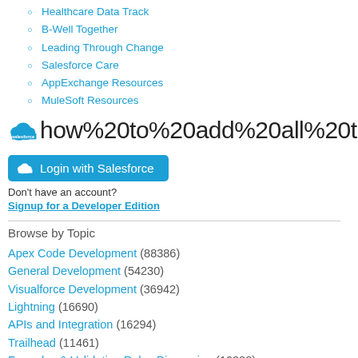Healthcare Data Track
B-Well Together
Leading Through Change
Salesforce Care
AppExchange Resources
MuleSoft Resources
[Figure (screenshot): Salesforce cloud logo and URL bar showing: how%20to%20add%20all%20th]
[Figure (screenshot): Blue 'Login with Salesforce' button with cloud icon]
Don't have an account?
Signup for a Developer Edition
Browse by Topic
Apex Code Development (88386)
General Development (54230)
Visualforce Development (36942)
Lightning (16690)
APIs and Integration (16294)
Trailhead (11461)
Formulas & Validation Rules Discussion (10888)
Other Salesforce Applications (7860)
Jobs Board (6626)
Force.com Sites & Site.com (4762)